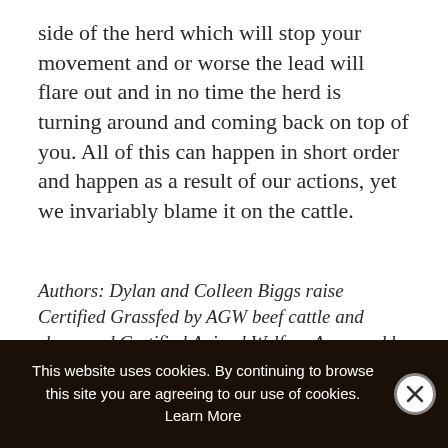side of the herd which will stop your movement and or worse the lead will flare out and in no time the herd is turning around and coming back on top of you. All of this can happen in short order and happen as a result of our actions, yet we invariably blame it on the cattle.
Authors: Dylan and Colleen Biggs raise Certified Grassfed by AGW beef cattle and sheep and Certified Animal Welfare Approved by AGW pigs at TK Ranch in Alberta, CN. Visit tkranch.com
This website uses cookies. By continuing to browse this site you are agreeing to our use of cookies. Learn More